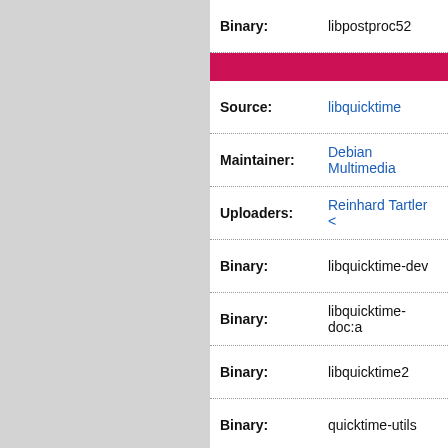| Binary: | libpostproc52 |
| Source: | libquicktime |
| Maintainer: | Debian Multimedia |
| Uploaders: | Reinhard Tartler < |
| Binary: | libquicktime-dev |
| Binary: | libquicktime-doc:a |
| Binary: | libquicktime2 |
| Binary: | quicktime-utils |
| Binary: | quicktime-x11utils |
| Source: | libva |